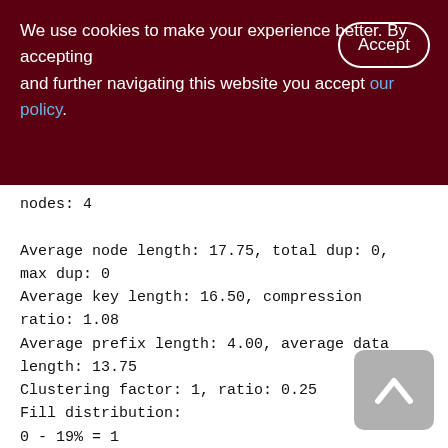We use cookies to make your experience better. By accepting and further navigating this website you accept our policy.
nodes: 4
Average node length: 17.75, total dup: 0, max dup: 0
Average key length: 16.50, compression ratio: 1.08
Average prefix length: 4.00, average data length: 13.75
Clustering factor: 1, ratio: 0.25
Fill distribution:
0 - 19% = 1
20 - 39% = 0
40 - 59% = 0
60 - 79% = 0